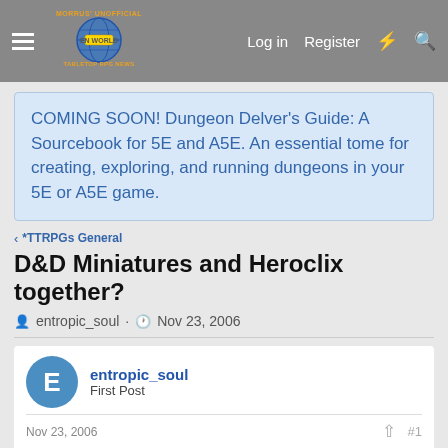Morrus' Unofficial Tabletop RPG News — Log in  Register
COMING SOON! Dungeon Delver's Guide: A Sourcebook for 5E and A5E. An essential tome for creating, exploring, and running dungeons in your 5E or A5E game.
< *TTRPGs General
D&D Miniatures and Heroclix together?
entropic_soul · Nov 23, 2006
entropic_soul
First Post
Nov 23, 2006  #1
I have a question for anyone that has both heroclix style figures and d&d miniatures. I know the bases are slight-